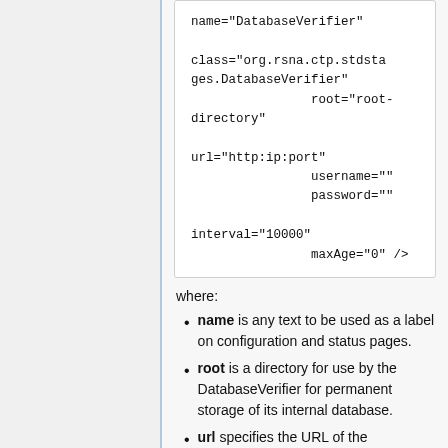name="DatabaseVerifier"
class="org.rsna.ctp.stdstages.DatabaseVerifier"
                root="root-directory"

url="http:ip:port"
                username=""
                password=""

interval="10000"
                maxAge="0" />
where:
name is any text to be used as a label on configuration and status pages.
root is a directory for use by the DatabaseVerifier for permanent storage of its internal database.
url specifies the URL of the